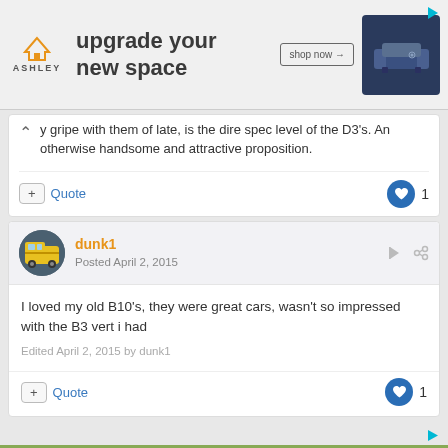[Figure (screenshot): Ashley Furniture advertisement banner: orange house logo, 'ASHLEY' text, tagline 'upgrade your new space', 'shop now' button, sofa image on right]
...y gripe with them of late, is the dire spec level of the D3's. An otherwise handsome and attractive proposition.
+ Quote [like button] 1
dunk1
Posted April 2, 2015
I loved my old B10's, they were great cars, wasn't so impressed with the B3 vert i had
Edited April 2, 2015 by dunk1
+ Quote [like button] 1